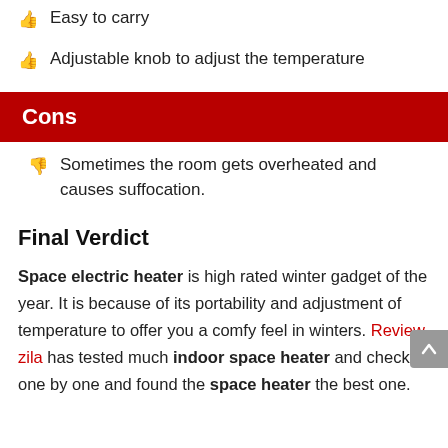Easy to carry
Adjustable knob to adjust the temperature
Cons
Sometimes the room gets overheated and causes suffocation.
Final Verdict
Space electric heater is high rated winter gadget of the year. It is because of its portability and adjustment of temperature to offer you a comfy feel in winters. Review zila has tested much indoor space heater and checked one by one and found the space heater the best one.